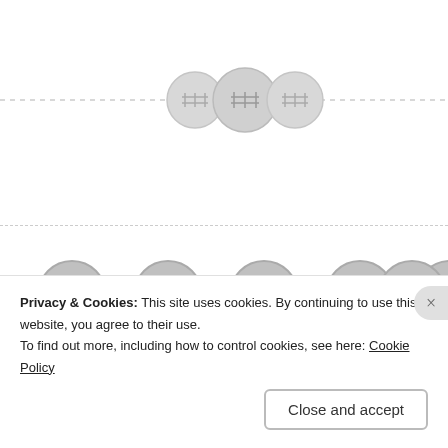[Figure (illustration): Three decorative button/grid circle icons arranged horizontally on a dashed horizontal line, greyed out]
[Figure (illustration): Five social media icon circles (Facebook, Pinterest, Twitter, Instagram, and a link/badge icon) in grey, arranged horizontally below a dashed dividing line]
Subscribe to Blog via Email
Enter your email address to subscribe to this blog and receive notifications of new posts by email.
Privacy & Cookies: This site uses cookies. By continuing to use this website, you agree to their use.
To find out more, including how to control cookies, see here: Cookie Policy
Close and accept